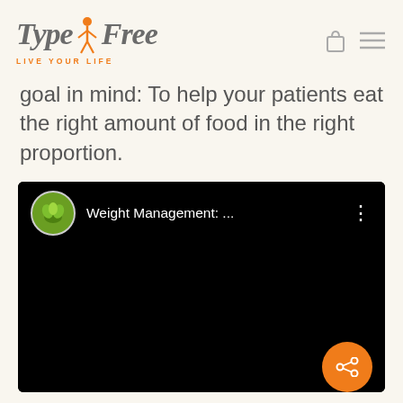TypeFree — LIVE YOUR LIFE
goal in mind: To help your patients eat the right amount of food in the right proportion.
[Figure (screenshot): Embedded video player with black background showing 'Weight Management: ...' title, a green channel avatar, and an orange share button in the bottom right corner.]